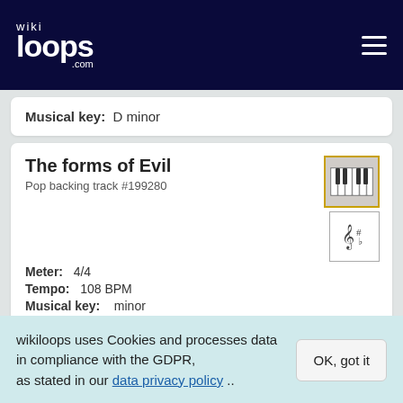wikiloops.com
Musical key: D minor
The forms of Evil
Pop backing track #199280
Meter: 4/4
Tempo: 108 BPM
Musical key: minor
Sounds like: Piano solo,dark,gloomy
Psychotic Trip
wikiloops uses Cookies and processes data in compliance with the GDPR, as stated in our data privacy policy ..